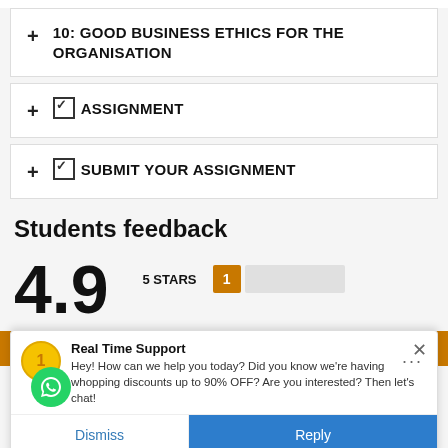+ 10: GOOD BUSINESS ETHICS FOR THE ORGANISATION
+ ☑ ASSIGNMENT
+ ☑ SUBMIT YOUR ASSIGNMENT
Students feedback
4.9
5 STARS  1
To give you the best possible experience, this site uses cookies.
Real Time Support
Hey! How can we help you today? Did you know we're having whopping discounts up to 90% OFF? Are you interested? Then let's chat!